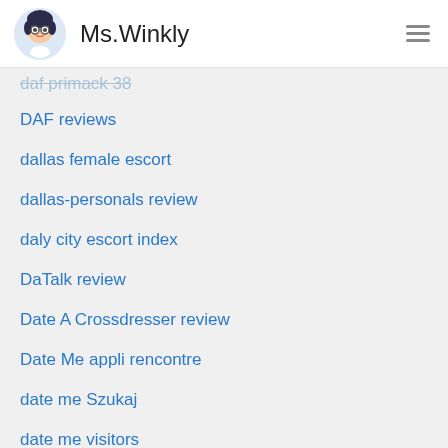Ms.Winkly
daf primack 38
DAF reviews
dallas female escort
dallas-personals review
daly city escort index
DaTalk review
Date A Crossdresser review
Date Me appli rencontre
date me Szukaj
date me visitors
datehookup it review
DateMyAge visitors
DatePlay review